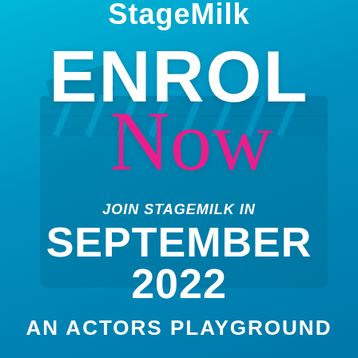StageMilk
ENROL NOW
JOIN STAGEMILK IN
SEPTEMBER 2022
AN ACTORS PLAYGROUND